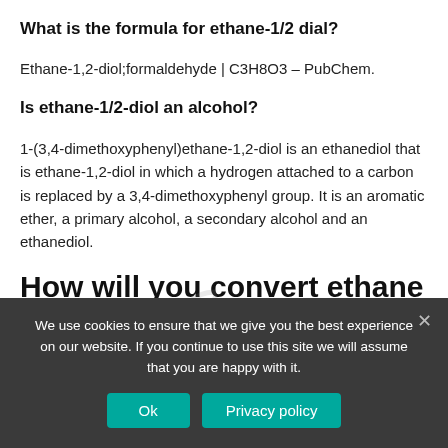What is the formula for ethane-1/2 dial?
Ethane-1,2-diol;formaldehyde | C3H8O3 – PubChem.
Is ethane-1/2-diol an alcohol?
1-(3,4-dimethoxyphenyl)ethane-1,2-diol is an ethanediol that is ethane-1,2-diol in which a hydrogen attached to a carbon is replaced by a 3,4-dimethoxyphenyl group. It is an aromatic ether, a primary alcohol, a secondary alcohol and an ethanediol.
How will you convert ethane to
We use cookies to ensure that we give you the best experience on our website. If you continue to use this site we will assume that you are happy with it.